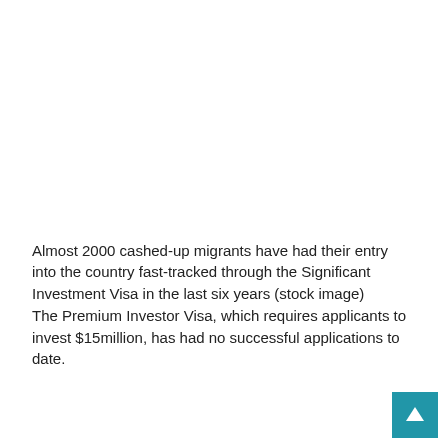Almost 2000 cashed-up migrants have had their entry into the country fast-tracked through the Significant Investment Visa in the last six years (stock image)
The Premium Investor Visa, which requires applicants to invest $15million, has had no successful applications to date.